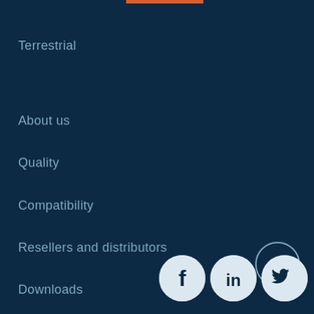Terrestrial
About us
Quality
Compatibility
Resellers and distributors
Downloads
[Figure (infographic): Social media icons: scroll-to-top arrow button, Facebook, LinkedIn, and Twitter circle icons in bottom right corner]